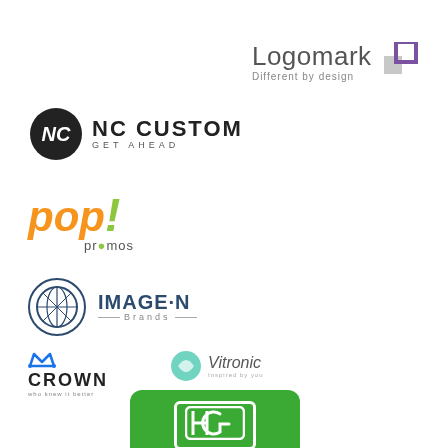[Figure (logo): Logomark logo - text says 'Logomark' with tagline 'Different by design' and a small square icon in purple/gray]
[Figure (logo): NC Custom logo - black circle with NC initials, text reads 'NC CUSTOM GET AHEAD']
[Figure (logo): pop! promos logo - orange italic 'pop' with green exclamation mark and 'promos' text]
[Figure (logo): IMAGE-N Brands logo - dark blue circle with grid pattern, text reads 'IMAGE·N Brands']
[Figure (logo): Crown logo with crown icon above text 'CROWN' and small tagline]
[Figure (logo): Vitronic logo with teal circular icon and italic text 'Vitronic Inspired by you']
[Figure (logo): Hirsch logo - green rounded rectangle with HG monogram and HIRSCH text in white]